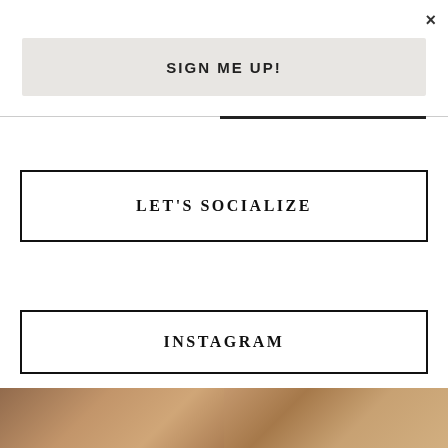×
SIGN ME UP!
LET'S SOCIALIZE
INSTAGRAM
[Figure (photo): Two partial thumbnail photos at the bottom of the page, showing warm-toned lifestyle/interior images]